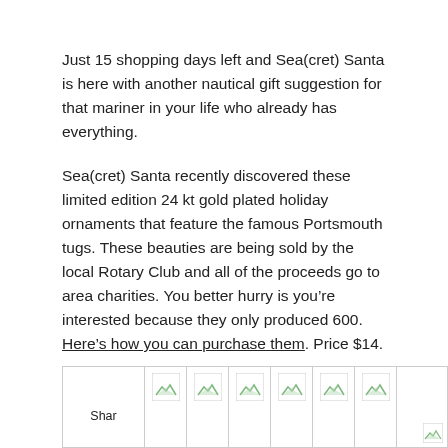Just 15 shopping days left and Sea(cret) Santa is here with another nautical gift suggestion for that mariner in your life who already has everything.
Sea(cret) Santa recently discovered these limited edition 24 kt gold plated holiday ornaments that feature the famous Portsmouth tugs. These beauties are being sold by the local Rotary Club and all of the proceeds go to area charities. You better hurry is you’re interested because they only produced 600. Here’s how you can purchase them. Price $14.
Technorati tags: Sea(cret) Santa, Portsmouth, NHL, Rotary, tugboats, 2008, ornament
[Figure (other): Share bar with multiple broken image icons and a 'Shar' label in the first cell]